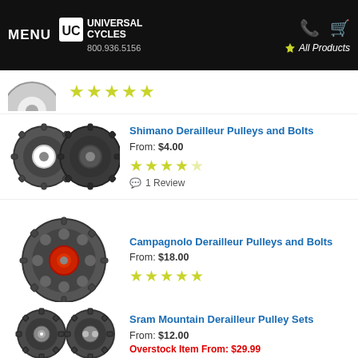MENU | UC Universal Cycles | 800.936.5156 | All Products
[Figure (screenshot): Partial product image at top (gear pulleys, partially cut off) with 5 yellow stars]
Shimano Derailleur Pulleys and Bolts
From: $4.00
4.5 stars
1 Review
[Figure (photo): Two Shimano derailleur pulleys, one white center and one dark, side by side]
Campagnolo Derailleur Pulleys and Bolts
From: $18.00
5 stars
[Figure (photo): Single large Campagnolo derailleur pulley with red center bearing]
Sram Mountain Derailleur Pulley Sets
From: $12.00
Overstock Item From: $29.99
[Figure (photo): Two Sram Mountain derailleur pulleys side by side, dark gray]